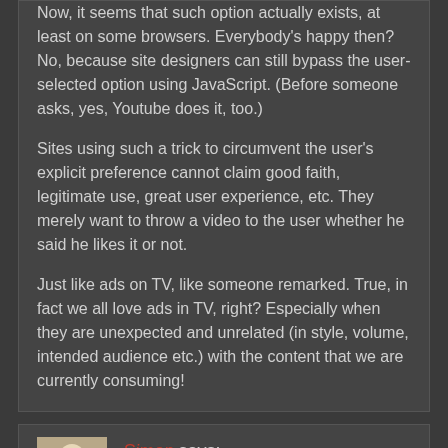Now, it seems that such option actually exists, at least on some browsers. Everybody's happy then? No, because site designers can still bypass the user-selected option using JavaScript. (Before someone asks, yes, Youtube does it, too.)
Sites using such a trick to circumvent the user's explicit preference cannot claim good faith, legitimate use, great user experience, etc. They merely want to throw a video to the user whether he said he likes it or not.
Just like ads on TV, like someone remarked. True, in fact we all love ads in TV, right? Especially when they are unexpected and unrelated (in style, volume, intended audience etc.) with the content that we are currently consuming!
Simon says: 14 September 2015 at 11:10 am
I tend to agree that autoplay is bad for some users, some of the time. I write interactive kiosk applications for the iPad and develop these as HTML5 apps that get pinned to the dashboard and ran during events.